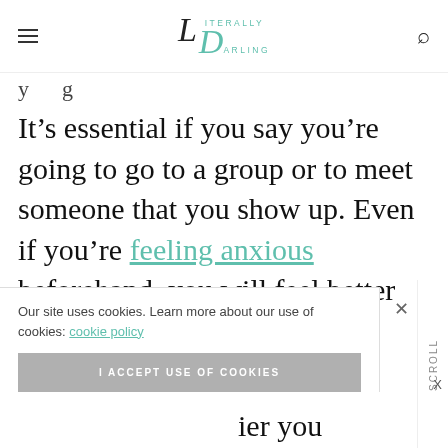Literally Darling (logo navigation)
It’s essential if you say you’re going to go to a group or to meet someone that you show up. Even if you’re feeling anxious beforehand, you will feel better once you … yourself … ier you
Our site uses cookies. Learn more about our use of cookies: cookie policy
I ACCEPT USE OF COOKIES